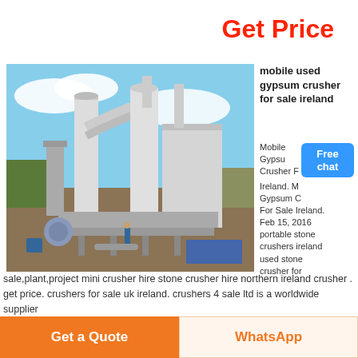Get Price
[Figure (photo): Industrial gypsum crusher / grinding mill equipment outdoors with pipes and silos, worker standing nearby]
mobile used gypsum crusher for sale ireland
Mobile Gypsum Crusher For Sale Ireland. Mobile Gypsum Crusher For Sale Ireland. Feb 15, 2016 portable stone crushers ireland used stone crusher for sale,plant,project mini crusher hire stone crusher hire northern ireland crusher . get price. crushers for sale uk ireland. crushers 4 sale ltd is a worldwide supplier and procurement used crushers for sale, static crushers for sale web design
Get a Quote
WhatsApp